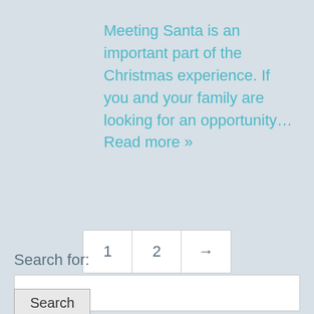Meeting Santa is an important part of the Christmas experience. If you and your family are looking for an opportunity... Read more »
1  2  →
Search for:
Search